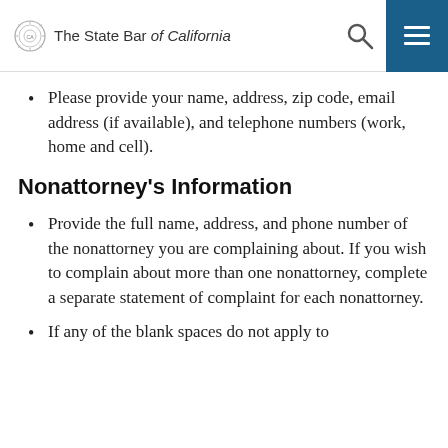The State Bar of California
Please provide your name, address, zip code, email address (if available), and telephone numbers (work, home and cell).
Nonattorney's Information
Provide the full name, address, and phone number of the nonattorney you are complaining about. If you wish to complain about more than one nonattorney, complete a separate statement of complaint for each nonattorney.
If any of the blank spaces do not apply to